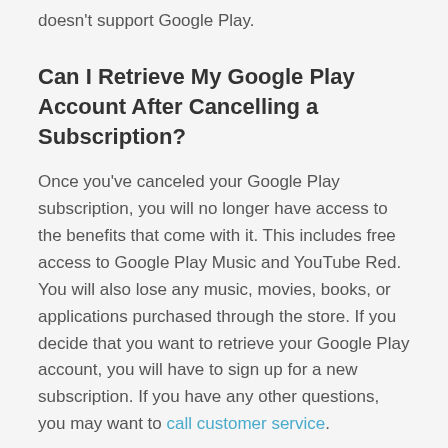doesn't support Google Play.
Can I Retrieve My Google Play Account After Cancelling a Subscription?
Once you've canceled your Google Play subscription, you will no longer have access to the benefits that come with it. This includes free access to Google Play Music and YouTube Red. You will also lose any music, movies, books, or applications purchased through the store. If you decide that you want to retrieve your Google Play account, you will have to sign up for a new subscription. If you have any other questions, you may want to call customer service.